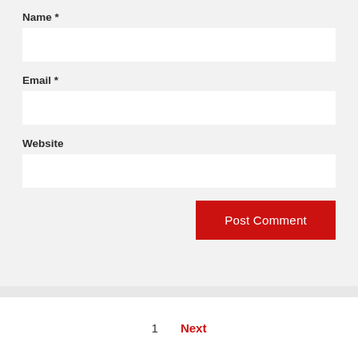Name *
[Figure (screenshot): Empty text input field for Name]
Email *
[Figure (screenshot): Empty text input field for Email]
Website
[Figure (screenshot): Empty text input field for Website]
Post Comment
1
Next